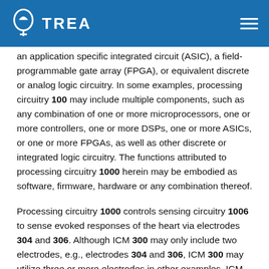TREA
an application specific integrated circuit (ASIC), a field-programmable gate array (FPGA), or equivalent discrete or analog logic circuitry. In some examples, processing circuitry 100 may include multiple components, such as any combination of one or more microprocessors, one or more controllers, one or more DSPs, one or more ASICs, or one or more FPGAs, as well as other discrete or integrated logic circuitry. The functions attributed to processing circuitry 1000 herein may be embodied as software, firmware, hardware or any combination thereof.
Processing circuitry 1000 controls sensing circuitry 1006 to sense evoked responses of the heart via electrodes 304 and 306. Although ICM 300 may only include two electrodes, e.g., electrodes 304 and 306, ICM 300 may utilize three or more electrodes in other examples. ICM 300 may use any combination of electrodes to detect electrical signals from patient 114. Sensing circuitry 1006 is electrically coupled to